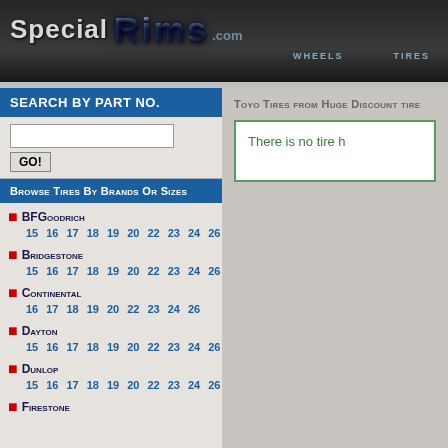Special RIMS .com — Wheels  Tires
SEARCH BY PART NO.
Browse Tires By Brands Or Sizes
BFGoodrich — 15 16 17 18 19 20 22 23 24 26
Bridgestone — 15 16 17 18 19 20 22 23 24 26
Continental — 16 17 18 19 20 22 23 24 26
Dayton — 15 16 17 18 19 20 22 23 24 26
Dunlop — 15 16 17 18 19 20 22 23 24 26
Firestone
Toyo Tires from Huge Discount tire
There is no tire h...